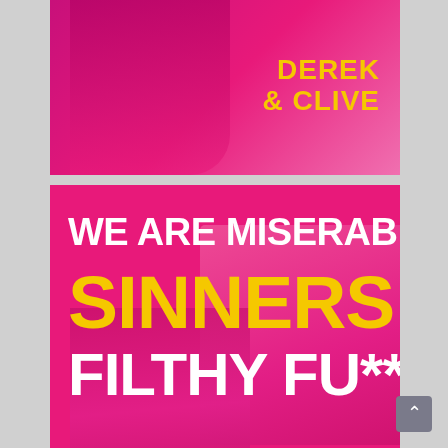[Figure (illustration): Top portion of Derek & Clive album cover — hot pink background with a person silhouette, and the text 'DEREK & CLIVE' in bold yellow lettering on the right side.]
[Figure (illustration): Bottom portion of Derek & Clive album cover — hot pink background with overlaid person silhouettes and large bold text reading 'WE ARE MISERABLE SINNERS FILTHY FU**ERS' in white and yellow.]